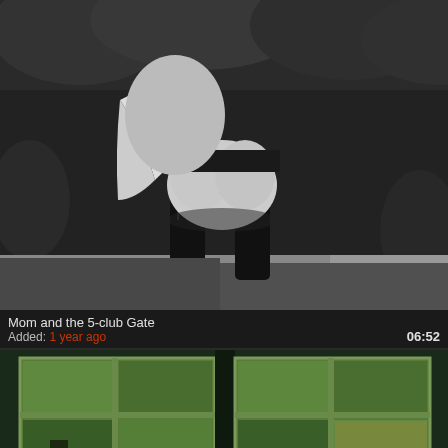[Figure (photo): Black and white photograph of a woman bending over a bench outdoors, wearing stockings and lingerie, surrounded by trees and garden foliage.]
Mom and the 5-club Gate
Added: 1 year ago
06:52
[Figure (photo): Color photograph of a building exterior at night showing green-tinted windows in a grid pattern with interior lighting visible.]